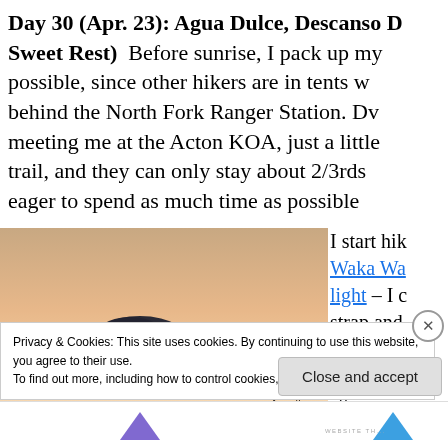Day 30 (Apr. 23): Agua Dulce, Descanso D... Sweet Rest)  Before sunrise, I pack up my... possible, since other hikers are in tents w... behind the North Fork Ranger Station. Dv... meeting me at the Acton KOA, just a little... trail, and they can only stay about 2/3rds... eager to spend as much time as possible
[Figure (photo): Early morning sky with orange and pink hues, a dark cloud silhouette in the center, bare tree branches visible at the lower right.]
I start hik... Waka Wa... light – I c... strap and... li... th... ett... he
Privacy & Cookies: This site uses cookies. By continuing to use this website, you agree to their use.
To find out more, including how to control cookies, see here: Cookie Policy
Close and accept